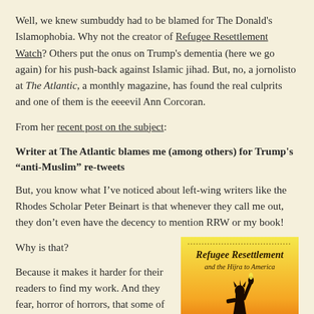Well, we knew sumbuddy had to be blamed for The Donald's Islamophobia. Why not the creator of Refugee Resettlement Watch? Others put the onus on Trump's dementia (here we go again) for his push-back against Islamic jihad. But, no, a jornolisto at The Atlantic, a monthly magazine, has found the real culprits and one of them is the eeeevil Ann Corcoran.
From her recent post on the subject:
Writer at The Atlantic blames me (among others) for Trump's “anti-Muslim” re-tweets
But, you know what I’ve noticed about left-wing writers like the Rhodes Scholar Peter Beinart is that whenever they call me out, they don’t even have the decency to mention RRW or my book!
Why is that?
Because it makes it harder for their readers to find my work. And they fear, horror of horrors, that some of those readers might actually agree with me on a few
[Figure (photo): Book cover of 'Refugee Resettlement and the Hijra to America' showing a yellow-to-orange gradient background with a silhouette of the Statue of Liberty.]